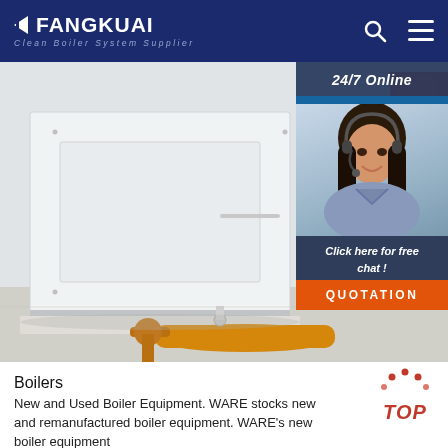FANGKUAI Clean Boiler System Supplier
[Figure (photo): Industrial boiler equipment installation photo showing large white rectangular boiler units with orange/yellow industrial pipe at the bottom, set in a facility with white walls and concrete floor. A '24/7 Online' customer service chat widget overlays the right side with a smiling female customer service agent wearing a headset, and a 'Click here for free chat! QUOTATION' button.]
Boilers
New and Used Boiler Equipment. WARE stocks new and remanufactured boiler equipment. WARE's new boiler equipment